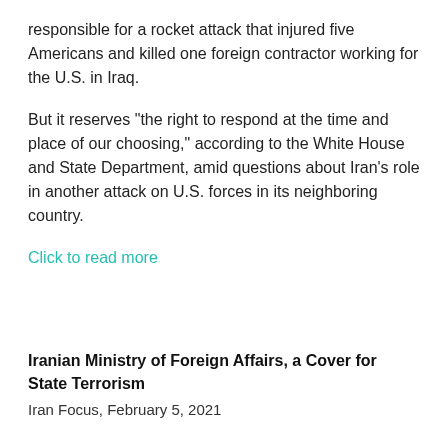responsible for a rocket attack that injured five Americans and killed one foreign contractor working for the U.S. in Iraq.
But it reserves "the right to respond at the time and place of our choosing," according to the White House and State Department, amid questions about Iran's role in another attack on U.S. forces in its neighboring country.
Click to read more
Iranian Ministry of Foreign Affairs, a Cover for State Terrorism
Iran Focus, February 5, 2021